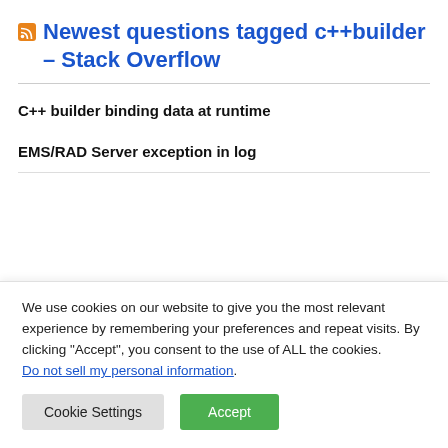Newest questions tagged c++builder – Stack Overflow
C++ builder binding data at runtime
EMS/RAD Server exception in log
We use cookies on our website to give you the most relevant experience by remembering your preferences and repeat visits. By clicking “Accept”, you consent to the use of ALL the cookies.
Do not sell my personal information.